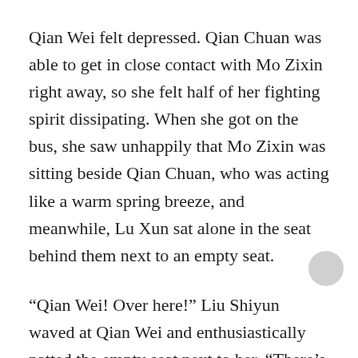Qian Wei felt depressed. Qian Chuan was able to get in close contact with Mo Zixin right away, so she felt half of her fighting spirit dissipating. When she got on the bus, she saw unhappily that Mo Zixin was sitting beside Qian Chuan, who was acting like a warm spring breeze, and meanwhile, Lu Xun sat alone in the seat behind them next to an empty seat.
“Qian Wei! Over here!” Liu Shiyun waved at Qian Wei and enthusiastically patted the empty seat next to her. “There’s a seat here!”
Qian Wei paused. At the moment, Qian Chuan was talking and laughing excitedly to Mo Zixin, while Lu Xun had already put on his headphones and was looking out of the window indifferently. He seemed to have no intention of joining Qian Chuan and Mo Zixin’s conversation.